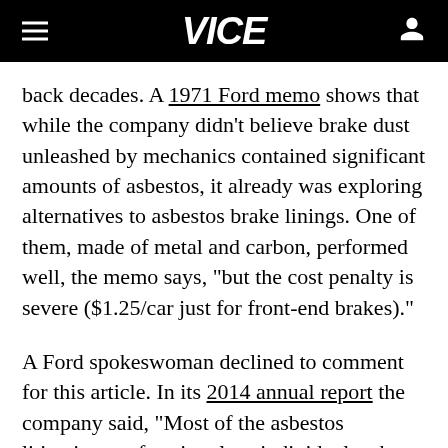VICE
back decades. A 1971 Ford memo shows that while the company didn't believe brake dust unleashed by mechanics contained significant amounts of asbestos, it already was exploring alternatives to asbestos brake linings. One of them, made of metal and carbon, performed well, the memo says, "but the cost penalty is severe ($1.25/car just for front-end brakes)."
A Ford spokeswoman declined to comment for this article. In its 2014 annual report the company said, "Most of the asbestos litigation we face involves individuals who claim to have